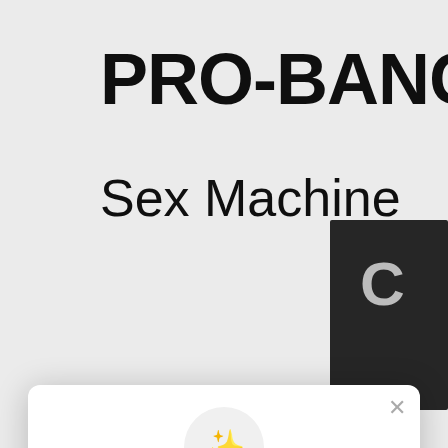PRO-BANG
Sex Machine
[Figure (screenshot): Background product image showing dark device on black background with letter C visible]
Unlock exclusive rewards and perks
Sign up or Log in
Sign up
Already have an account? Sign in